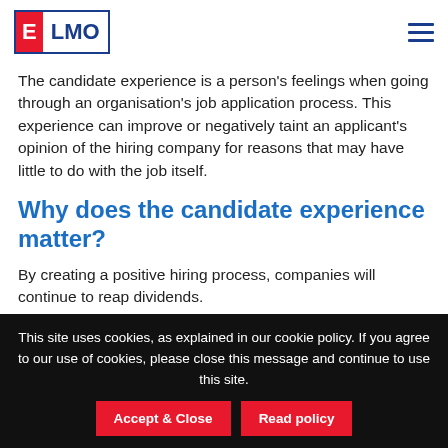ELMO
The candidate experience is a person's feelings when going through an organisation's job application process. This experience can improve or negatively taint an applicant's opinion of the hiring company for reasons that may have little to do with the job itself.
Why does the candidate experience matter?
By creating a positive hiring process, companies will continue to reap dividends.
This site uses cookies, as explained in our cookie policy. If you agree to our use of cookies, please close this message and continue to use this site.